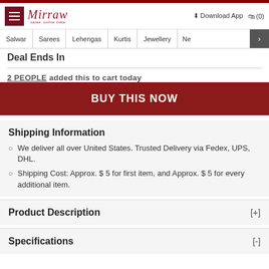Mirraw - saree, online india
Salwar | Sarees | Lehengas | Kurtis | Jewellery | Ne >
Deal Ends In
2 PEOPLE added this to cart today
BUY THIS NOW
Shipping Information
We deliver all over United States. Trusted Delivery via Fedex, UPS, DHL.
Shipping Cost: Approx. $ 5 for first item, and Approx. $ 5 for every additional item.
Product Description [+]
Specifications [-]